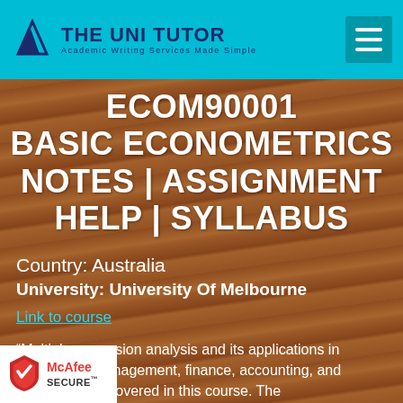THE UNI TUTOR | Academic Writing Services Made Simple
ECOM90001 BASIC ECONOMETRICS NOTES | ASSIGNMENT HELP | SYLLABUS
Country: Australia
University: University Of Melbourne
Link to course
“Multiple regression analysis and its applications in economics, management, finance, accounting, and marketing are covered in this course. The statistics of estimators, hypothesis testing, on error, multicollinearity, dummy variables,